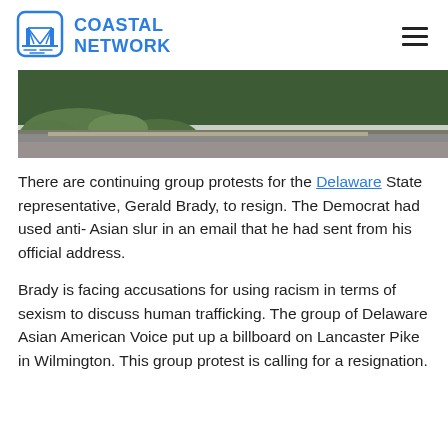COASTAL NETWORK
[Figure (photo): Outdoor parking lot area with green hedges and bushes, asphalt surface, overcast sky]
There are continuing group protests for the Delaware State representative, Gerald Brady, to resign. The Democrat had used anti- Asian slur in an email that he had sent from his official address.
Brady is facing accusations for using racism in terms of sexism to discuss human trafficking. The group of Delaware Asian American Voice put up a billboard on Lancaster Pike in Wilmington. This group protest is calling for a resignation.